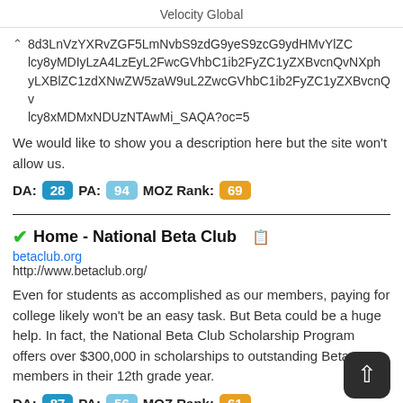Velocity Global
8d3LnVzYXRvZGF5LmNvbS9zdG9yeS9zcG9ydHMvYlZC1zdXNwZW5zaW9uL2ZwYXJlQzFZlcy8yMDIyLzA0LzEyL2FwcGVhbC1ib2FyZC1yZXBvcnQvNXphW9uLWRpc3BsYXlfU0FQQQQ?oc=5
We would like to show you a description here but the site won't allow us.
DA: 28 PA: 94 MOZ Rank: 69
Home - National Beta Club
betaclub.org
http://www.betaclub.org/
Even for students as accomplished as our members, paying for college likely won't be an easy task. But Beta could be a huge help. In fact, the National Beta Club Scholarship Program offers over $300,000 in scholarships to outstanding Beta members in their 12th grade year.
DA: 87 PA: 56 MOZ Rank: 61